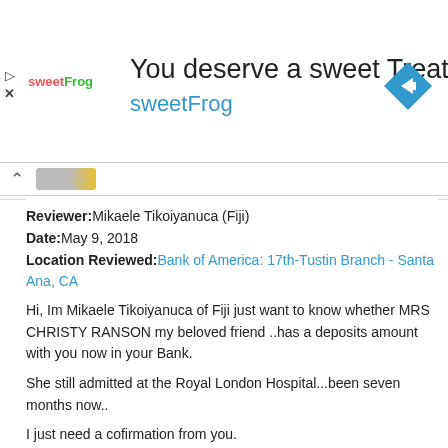[Figure (infographic): sweetFrog advertisement banner with logo, text 'You deserve a sweet Treat', 'sweetFrog', and navigation arrow icon]
Reviewer: Mikaele Tikoiyanuca (Fiji)
Date: May 9, 2018
Location Reviewed: Bank of America: 17th-Tustin Branch - Santa Ana, CA

Hi, Im Mikaele Tikoiyanuca of Fiji just want to know whether MRS CHRISTY RANSON my beloved friend ..has a deposits amount with you now in your Bank.

She still admitted at the Royal London Hospital...been seven months now..

I just need a cofirmation from you.

Thank you.

Yours faithfully